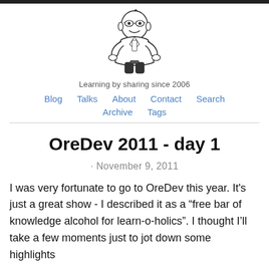[Figure (illustration): Cartoon mascot illustration of a smiling bespectacled man in a suit, black and white line drawing]
Learning by sharing since 2006
Blog  Talks  About  Contact  Search  Archive  Tags
OreDev 2011 - day 1
· November 9, 2011
I was very fortunate to go to OreDev this year. It's just a great show - I described it as a “free bar of knowledge alcohol for learn-o-holics”. I thought I’ll take a few moments just to jot down some highlights